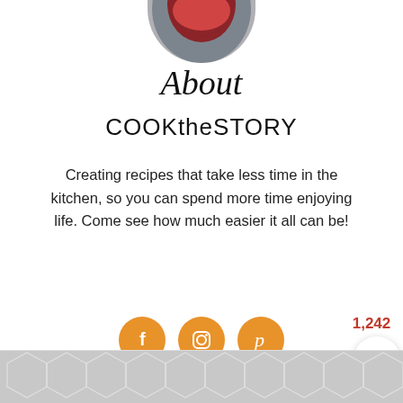[Figure (photo): Circular profile photo crop showing a cooking scene with red/orange colors at top of page]
About
COOKtheSTORY
Creating recipes that take less time in the kitchen, so you can spend more time enjoying life. Come see how much easier it all can be!
[Figure (illustration): Three orange circular social media icons: Facebook (f), Instagram (camera), Pinterest (p)]
1,242
[Figure (illustration): White circular like/heart button with shadow]
[Figure (illustration): Red circular search/magnifier button]
[Figure (illustration): Bottom strip with grey geometric hexagon pattern]